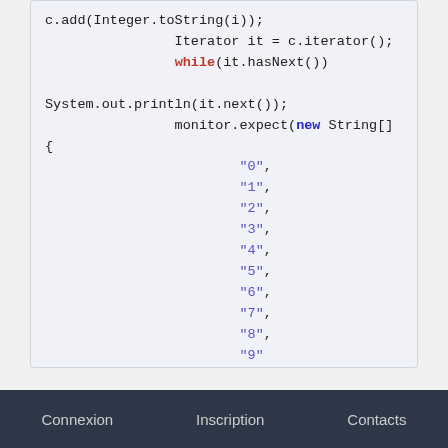c.add(Integer.toString(i));
                    Iterator it = c.iterator();
                    while(it.hasNext())

System.out.println(it.next());
                    monitor.expect(new String[]
{
                                "0",
                                "1",
                                "2",
                                "3",
                                "4",
                                "5",
                                "6",
                                "7",
                                "8",
                                "9"
                    });
            }
} ///:~
Connexion    Inscription    Contacts